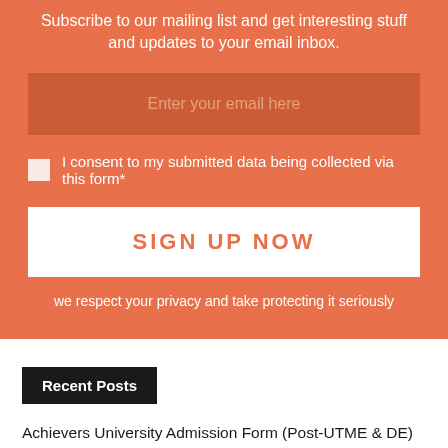Subscribe to our mailing list and get interesting stuff and updates to your email inbox.
Enter your email here
I consent to my submitted data being collected via this form*
SIGN UP NOW
we respect your privacy and take protecting it seriously
Recent Posts
Achievers University Admission Form (Post-UTME & DE) 2022/2023
IAUE HND to Degree Conversion Programmes Admission Form 2022/2023
Federal Poly Ekowe Admission Forms [ND & HND] 2022/2023